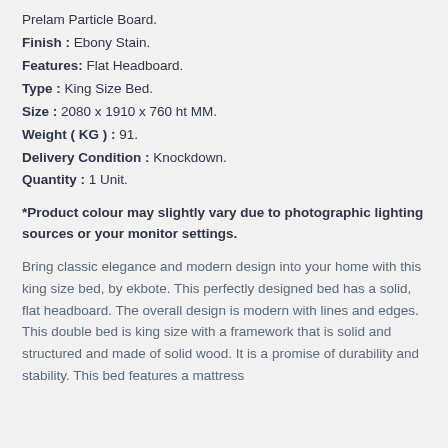Prelam Particle Board.
Finish : Ebony Stain.
Features: Flat Headboard.
Type : King Size Bed.
Size : 2080 x 1910 x 760 ht MM.
Weight ( KG ) : 91.
Delivery Condition : Knockdown.
Quantity : 1 Unit.
*Product colour may slightly vary due to photographic lighting sources or your monitor settings.
Bring classic elegance and modern design into your home with this king size bed, by ekbote. This perfectly designed bed has a solid, flat headboard. The overall design is modern with lines and edges. This double bed is king size with a framework that is solid and structured and made of solid wood. It is a promise of durability and stability. This bed features a mattress